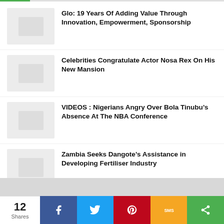Glo: 19 Years Of Adding Value Through Innovation, Empowerment, Sponsorship
Celebrities Congratulate Actor Nosa Rex On His New Mansion
VIDEOS : Nigerians Angry Over Bola Tinubu’s Absence At The NBA Conference
Zambia Seeks Dangote’s Assistance in Developing Fertiliser Industry
12 Shares